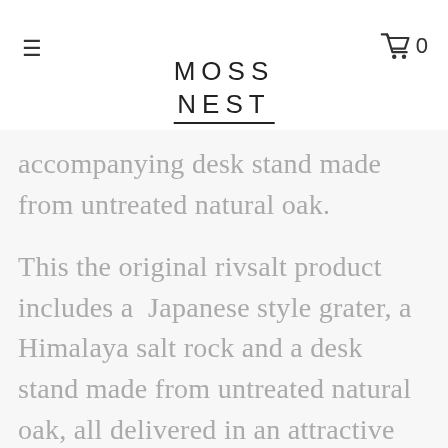≡   MOSS NEST   🛒 0
accompanying desk stand made from untreated natural oak.
This the original rivsalt product includes a Japanese style grater, a Himalaya salt rock and a desk stand made from untreated natural oak, all delivered in an attractive cardboard gift tube.